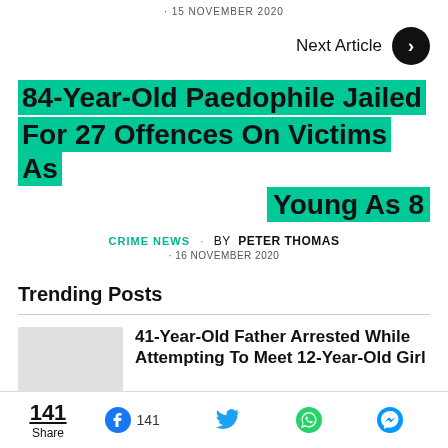· 15 NOVEMBER 2020
Next Article →
84-Year-Old Paedophile Jailed For 27 Offences On Victims As Young As 8
CRIME NEWS · BY PETER THOMAS · 16 NOVEMBER 2020
Trending Posts
41-Year-Old Father Arrested While Attempting To Meet 12-Year-Old Girl
141 Share | 141 (Facebook) | Twitter | WhatsApp | Messenger